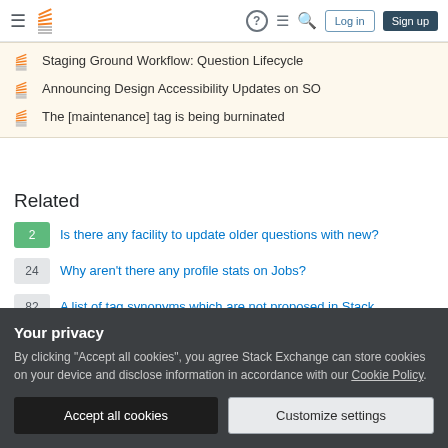Stack Overflow navigation bar with hamburger menu, logo, help, chat, search icons, Log in and Sign up buttons
Staging Ground Workflow: Question Lifecycle
Announcing Design Accessibility Updates on SO
The [maintenance] tag is being burninated
Related
2 — Is there any facility to update older questions with new?
24 — Why aren't there any profile stats on Jobs?
82 — A list of tag synonyms which are not proposed in Stack
Your privacy
By clicking "Accept all cookies", you agree Stack Exchange can store cookies on your device and disclose information in accordance with our Cookie Policy.
Accept all cookies   Customize settings